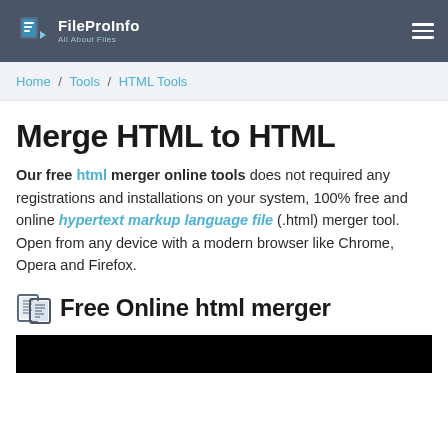FileProInfo – All About Files
Home / Tools / HTML Tools
Merge HTML to HTML
Our free html merger online tools does not required any registrations and installations on your system, 100% free and online hypertext markup language file (.html) merger tool. Open from any device with a modern browser like Chrome, Opera and Firefox.
Free Online html merger
[Figure (screenshot): Black video/tool area placeholder at the bottom of the page]